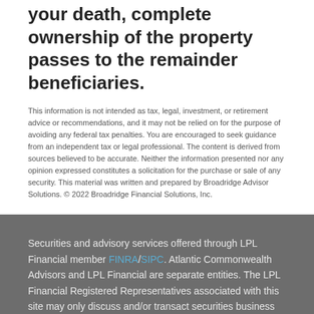your death, complete ownership of the property passes to the remainder beneficiaries.
This information is not intended as tax, legal, investment, or retirement advice or recommendations, and it may not be relied on for the purpose of avoiding any federal tax penalties. You are encouraged to seek guidance from an independent tax or legal professional. The content is derived from sources believed to be accurate. Neither the information presented nor any opinion expressed constitutes a solicitation for the purchase or sale of any security. This material was written and prepared by Broadridge Advisor Solutions. © 2022 Broadridge Financial Solutions, Inc.
Securities and advisory services offered through LPL Financial member FINRA/SIPC. Atlantic Commonwealth Advisors and LPL Financial are separate entities. The LPL Financial Registered Representatives associated with this site may only discuss and/or transact securities business with residents of the